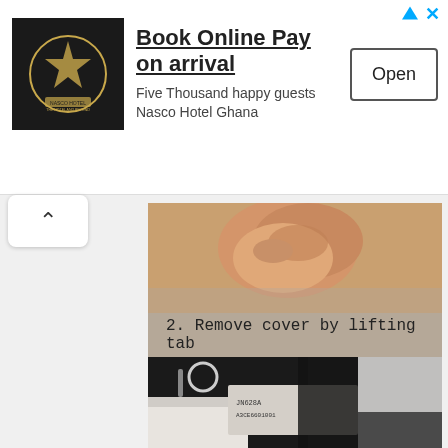[Figure (screenshot): Advertisement banner for Nasco Hotel Ghana with logo, text 'Book Online Pay on arrival', subtext 'Five Thousand happy guests Nasco Hotel Ghana', and an Open button]
Book Online Pay on arrival
Five Thousand happy guests Nasco Hotel Ghana
[Figure (photo): Instructional image showing step 2: Remove cover by lifting tab. Top portion shows a hand on carpet interior. Bottom portion shows underside of car interior with a label reading JN628A A3CE6601001.]